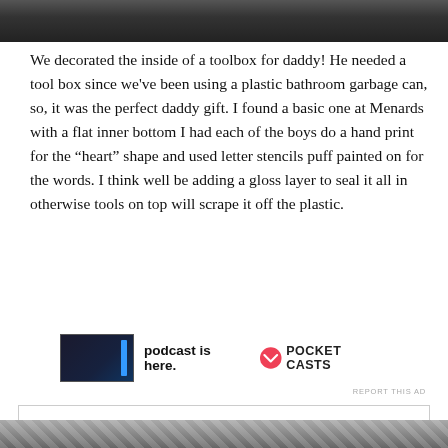[Figure (photo): Top portion of a photo showing a toolbox interior, dark background]
We decorated the inside of a toolbox for daddy! He needed a tool box since we've been using a plastic bathroom garbage can, so, it was the perfect daddy gift. I found a basic one at Menards with a flat inner bottom I had each of the boys do a hand print for the “heart” shape and used letter stencils puff painted on for the words. I think well be adding a gloss layer to seal it all in otherwise tools on top will scrape it off the plastic.
[Figure (screenshot): Advertisement banner for Pocket Casts podcast app showing app thumbnail, text 'podcast is here.' and Pocket Casts logo]
REPORT THIS AD
Privacy & Cookies: This site uses cookies. By continuing to use this website, you agree to their use.
To find out more, including how to control cookies, see here: Cookie Policy
Close and accept
[Figure (photo): Bottom portion of a photo showing a toolbox with chevron/patterned background]